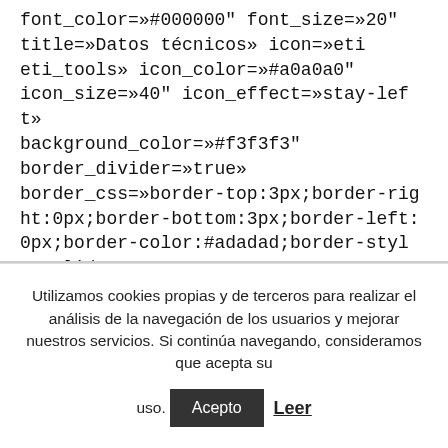font_color=»#000000" font_size=»20" title=»Datos técnicos» icon=»eti eti_tools» icon_color=»#a0a0a0" icon_size=»40" icon_effect=»stay-left» background_color=»#f3f3f3" border_divider=»true» border_css=»border-top:3px;border-right:0px;border-bottom:3px;border-left:0px;border-color:#adadad;border-style:solid;» padding_css=»padding:10px;»
Utilizamos cookies propias y de terceros para realizar el análisis de la navegación de los usuarios y mejorar nuestros servicios. Si continúa navegando, consideramos que acepta su uso. Acepto Leer